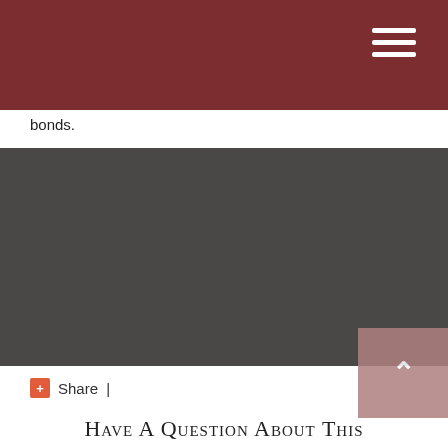bonds.
[Figure (other): Dark grey rectangular image/video placeholder block]
✚Share  |
Have A Question About This Topic?